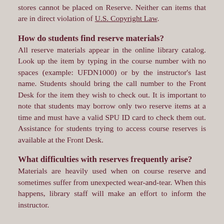stores cannot be placed on Reserve. Neither can items that are in direct violation of U.S. Copyright Law.
How do students find reserve materials?
All reserve materials appear in the online library catalog. Look up the item by typing in the course number with no spaces (example: UFDN1000) or by the instructor's last name. Students should bring the call number to the Front Desk for the item they wish to check out. It is important to note that students may borrow only two reserve items at a time and must have a valid SPU ID card to check them out. Assistance for students trying to access course reserves is available at the Front Desk.
What difficulties with reserves frequently arise?
Materials are heavily used when on course reserve and sometimes suffer from unexpected wear-and-tear. When this happens, library staff will make an effort to inform the instructor.